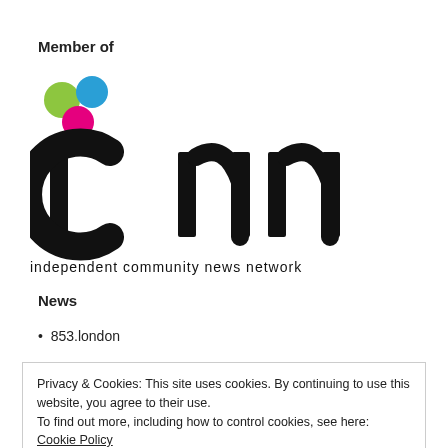Member of
[Figure (logo): ICNN (Independent Community News Network) logo with three colored circles (green, blue, pink) above the letter 'i', followed by stylized lowercase 'cnn' letters, and the text 'independent community news network' below]
News
853.london
Privacy & Cookies: This site uses cookies. By continuing to use this website, you agree to their use.
To find out more, including how to control cookies, see here: Cookie Policy
Close and accept